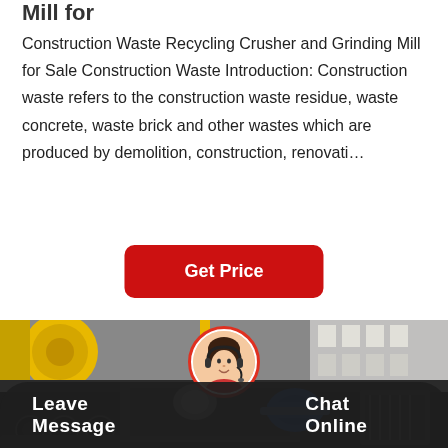Mill for
Construction Waste Recycling Crusher and Grinding Mill for Sale Construction Waste Introduction: Construction waste refers to the construction waste residue, waste concrete, waste brick and other wastes which are produced by demolition, construction, renovati…
[Figure (other): Red rounded rectangle button with white bold text reading 'Get Price']
[Figure (photo): Industrial machinery photo showing large crushing/grinding mill equipment with yellow and dark metal components, blue electric motor, rollers, and industrial building in background]
Leave Message   Chat Online